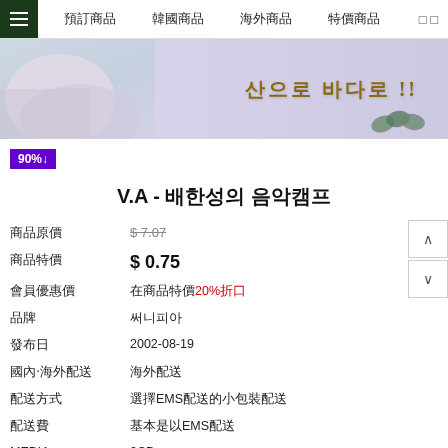≡ 預訂商品  韓國商品  海外商品  特價商品
[Figure (photo): Banner image showing a person with Korean text '산으로 바다로!!' in gold letters on a gradient background]
90%↓
V.A - 배한성의 음악캠프
| Field | Value |
| --- | --- |
| 商品原價 | $7.07 |
| 商品特價 | $ 0.75 |
| 會員優惠價 | 在商品特價20%折口 |
| 品牌 | 써니피아 |
| 發布日 | 2002-08-19 |
| 國內‧海外配送 | 海外配送 |
| 配送方式 | 選擇EMS配送的小包裝配送 |
| 配送費 | 基本是以EMS配送 |
| MEDIA | 2CD |